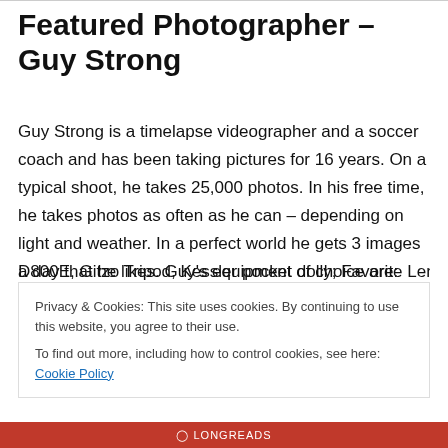Featured Photographer – Guy Strong
Guy Strong is a timelapse videographer and a soccer coach and has been taking pictures for 16 years. On a typical shoot, he takes 25,000 photos. In his free time, he takes photos as often as he can – depending on light and weather. In a perfect world he gets 3 images a day that he likes. Guy's equipment of choice are: Nikon D4, Nikon D800E, Gitzo Tripod, Kessler pocket dolly; Favorite Lens…
Privacy & Cookies: This site uses cookies. By continuing to use this website, you agree to their use.
To find out more, including how to control cookies, see here: Cookie Policy
Close and accept